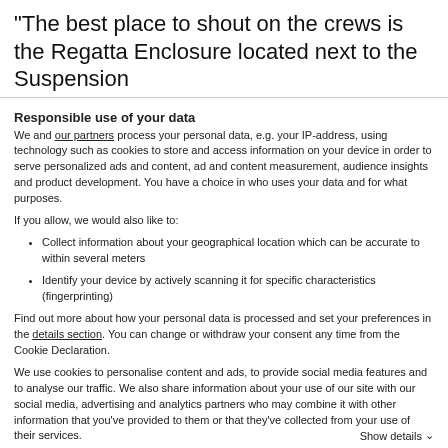“The best place to shout on the crews is the Regatta Enclosure located next to the Suspension
Responsible use of your data
We and our partners process your personal data, e.g. your IP-address, using technology such as cookies to store and access information on your device in order to serve personalized ads and content, ad and content measurement, audience insights and product development. You have a choice in who uses your data and for what purposes.
If you allow, we would also like to:
Collect information about your geographical location which can be accurate to within several meters
Identify your device by actively scanning it for specific characteristics (fingerprinting)
Find out more about how your personal data is processed and set your preferences in the details section. You can change or withdraw your consent any time from the Cookie Declaration.
We use cookies to personalise content and ads, to provide social media features and to analyse our traffic. We also share information about your use of our site with our social media, advertising and analytics partners who may combine it with other information that you've provided to them or that they've collected from your use of their services.
Use necessary cookies only
Show details